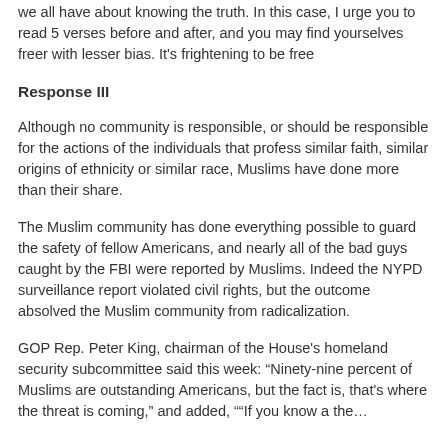we all have about knowing the truth. In this case, I urge you to read 5 verses before and after, and you may find yourselves freer with lesser bias. It's frightening to be free
Response III
Although no community is responsible, or should be responsible for the actions of the individuals that profess similar faith, similar origins of ethnicity or similar race, Muslims have done more than their share.
The Muslim community has done everything possible to guard the safety of fellow Americans, and nearly all of the bad guys caught by the FBI were reported by Muslims. Indeed the NYPD surveillance report violated civil rights, but the outcome absolved the Muslim community from radicalization.
GOP Rep. Peter King, chairman of the House's homeland security subcommittee said this week: “Ninety-nine percent of Muslims are outstanding Americans, but the fact is, that's where the threat is coming,” and added, ““If you know a the…